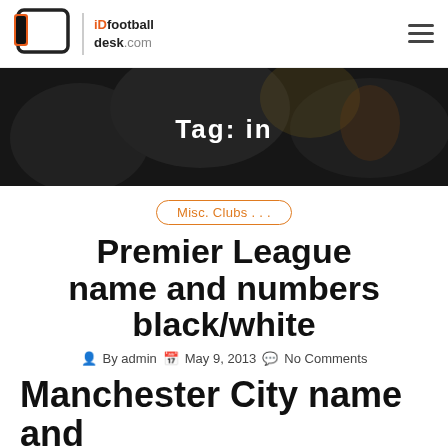iDfootballdesk.com
[Figure (screenshot): Hero banner with dark football background image showing players, overlaid with bold white text 'Tag: in']
Misc. Clubs . . .
Premier League name and numbers black/white
By admin   May 9, 2013   No Comments
Manchester City name and numbers | EPL kit